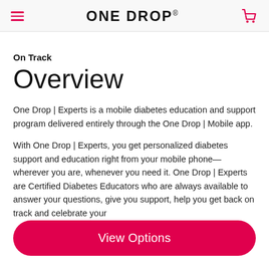ONE DROP
On Track
Overview
One Drop | Experts is a mobile diabetes education and support program delivered entirely through the One Drop | Mobile app.
With One Drop | Experts, you get personalized diabetes support and education right from your mobile phone—wherever you are, whenever you need it. One Drop | Experts are Certified Diabetes Educators who are always available to answer your questions, give you support, help you get back on track and celebrate your
View Options